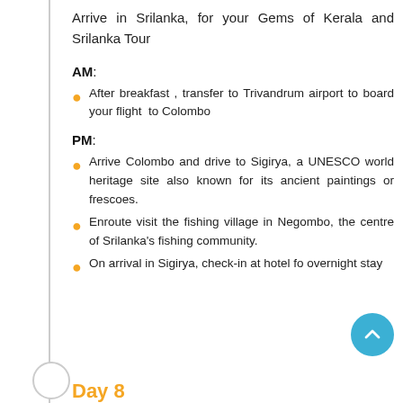Arrive in Srilanka, for your Gems of Kerala and Srilanka Tour
AM:
After breakfast , transfer to Trivandrum airport to board your flight to Colombo
PM:
Arrive Colombo and drive to Sigirya, a UNESCO world heritage site also known for its ancient paintings or frescoes.
Enroute visit the fishing village in Negombo, the centre of Srilanka's fishing community.
On arrival in Sigirya, check-in at hotel for overnight stay
Day 8